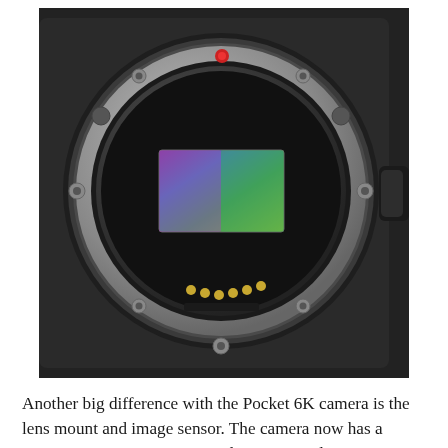[Figure (photo): Close-up photo of a camera body showing a Canon EF lens mount with a colorful image sensor visible in the center, contacts at the bottom, and red dot alignment marker at the top. The body is dark/black with silver metallic ring.]
Another big difference with the Pocket 6K camera is the lens mount and image sensor. The camera now has a Super 35mm image sensor and a very popular Canon EF mount. This will make it a great camera addition to any Canon shooter. It means you can use that huge array of already available Canon